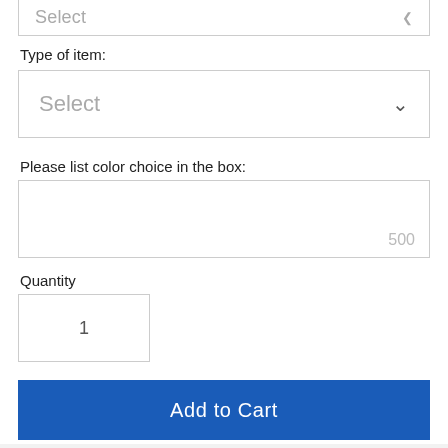Select
Type of item:
Select
Please list color choice in the box:
500
Quantity
1
Add to Cart
Phone  Email  Facebook  Instagram